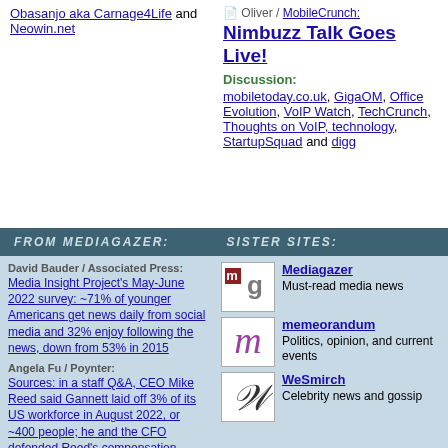Obasanjo aka Carnage4Life and Neowin.net
Oliver / MobileCrunch: Nimbuzz Talk Goes Live! Discussion: mobiletoday.co.uk, GigaOM, Office Evolution, VoIP Watch, TechCrunch, Thoughts on VoIP, technology, StartupSquad and digg
FROM MEDIAGAZER:
SISTER SITES:
David Bauder / Associated Press: Media Insight Project's May-June 2022 survey: ~71% of younger Americans get news daily from social media and 32% enjoy following the news, down from 53% in 2015
Angela Fu / Poynter: Sources: in a staff Q&A, CEO Mike Reed said Gannett laid off 3% of its US workforce in August 2022, or ~400 people; he and the CFO defended Reed's compensation
Dade Hayes / Deadline:
[Figure (logo): Mediagazer logo - mg letters in red/brown square]
Mediagazer Must-read media news
[Figure (logo): memeorandum logo - purple m on white]
memeorandum Politics, opinion, and current events
[Figure (logo): WeSmirch logo - cursive W on white]
WeSmirch Celebrity news and gossip